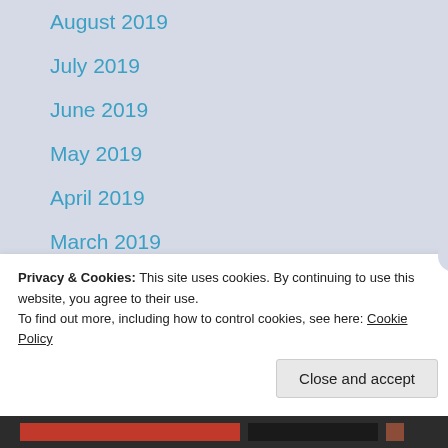August 2019
July 2019
June 2019
May 2019
April 2019
March 2019
February 2019
January 2019
December 2018
November 2018
Privacy & Cookies: This site uses cookies. By continuing to use this website, you agree to their use.
To find out more, including how to control cookies, see here: Cookie Policy
Close and accept